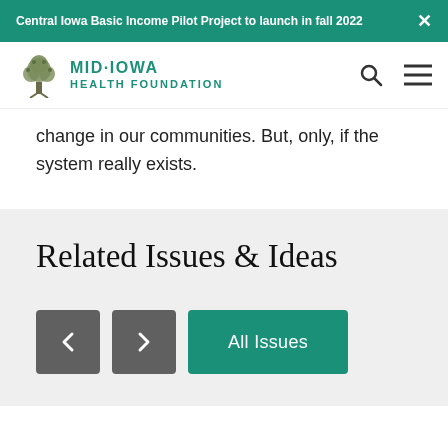Central Iowa Basic Income Pilot Project to launch in fall 2022
[Figure (logo): Mid-Iowa Health Foundation logo with tree illustration and teal text]
change in our communities. But, only, if the system really exists.
Related Issues & Ideas